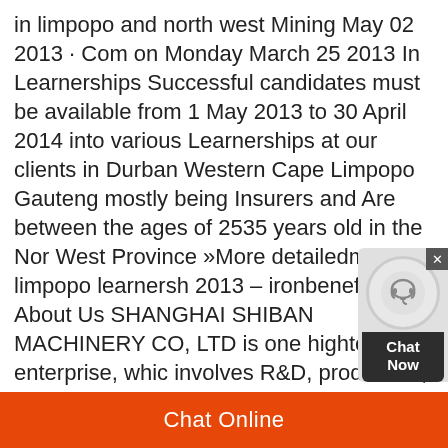in limpopo and north west Mining May 02 2013 · Com on Monday March 25 2013 In Learnerships Successful candidates must be available from 1 May 2013 to 30 April 2014 into various Learnerships at our clients in Durban Western Cape Limpopo Gauteng mostly being Insurers and Are between the ages of 2535 years old in the North West Province »More detailedmining limpopo learnerships 2013 – ironbeneficiation About Us SHANGHAI SHIBANG MACHINERY CO, LTD is one hightech enterprise, which involves R&D, production, sales and service as well Read more Sitemap | wwwlearnershipjobs Learnerships in Limpopo 2014Northam Booysendal Mine Learnerships, Bursaries and Jobs 2014 Nursing Learnerships 2013 in SouthMining Limpopo Learnerships 2013 greenrevolution· Learnerships 2013 to 2014 – 4 Apr 2013 Posted by limpopo contacts learnerships on Thursday, March 28, 2013, in Midrand is looking for Engineering
[Figure (other): Chat widget with circular headset icon and 'Chat Now' button, overlaid on the top-right of the page]
Chat Online